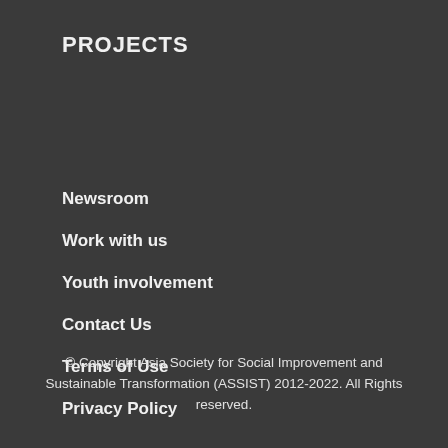PROJECTS
Newsroom
Work with us
Youth involvement
Contact Us
Terms of Use
Privacy Policy
© Copyright Asia Society for Social Improvement and Sustainable Transformation (ASSIST) 2012-2022. All Rights reserved.